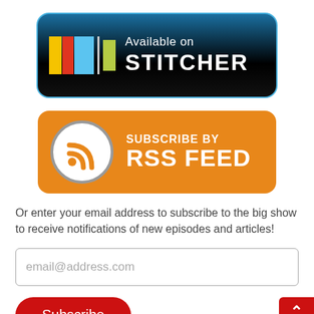[Figure (logo): Available on Stitcher button — dark background with colored bars logo and STITCHER text]
[Figure (logo): Subscribe by RSS Feed button — orange background with RSS icon]
Or enter your email address to subscribe to the big show to receive notifications of new episodes and articles!
[Figure (other): Email input field with placeholder text email@address.com]
[Figure (other): Subscribe button — red rounded rectangle]
[Figure (other): Back to top button — red square with chevron in lower right corner]